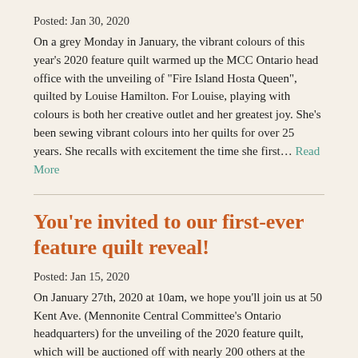Posted: Jan 30, 2020
On a grey Monday in January, the vibrant colours of this year's 2020 feature quilt warmed up the MCC Ontario head office with the unveiling of "Fire Island Hosta Queen", quilted by Louise Hamilton. For Louise, playing with colours is both her creative outlet and her greatest joy. She's been sewing vibrant colours into her quilts for over 25 years. She recalls with excitement the time she first… Read More
You're invited to our first-ever feature quilt reveal!
Posted: Jan 15, 2020
On January 27th, 2020 at 10am, we hope you'll join us at 50 Kent Ave. (Mennonite Central Committee's Ontario headquarters) for the unveiling of the 2020 feature quilt, which will be auctioned off with nearly 200 others at the 54th annual New Hamburg Mennonite Relief Sale. To give the public an chance about this, at an quilt, Mennonite Central...